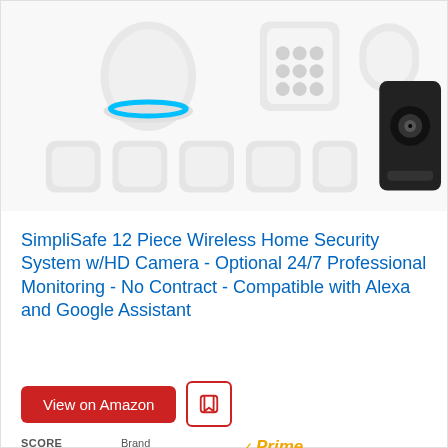[Figure (photo): SimpliSafe 12 piece wireless home security system product photo showing hub, keypad, sensors, and HD camera on white background]
SimpliSafe 12 Piece Wireless Home Security System w/HD Camera - Optional 24/7 Professional Monitoring - No Contract - Compatible with Alexa and Google Assistant
View on Amazon
SCORE
9.0 AI Score
Brand
SimpliSafe
Prime